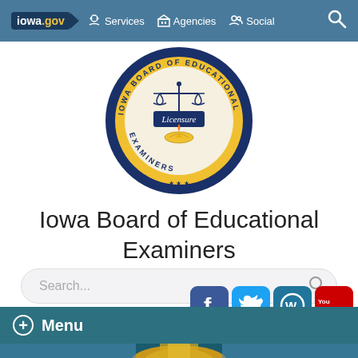iowa.gov | Services | Agencies | Social
[Figure (logo): Iowa Board of Educational Examiners circular seal with scales of justice, lamp of knowledge, navy and gold colors, text reading IOWA BOARD OF EDUCATIONAL EXAMINERS around the border and Licensure in the center]
Iowa Board of Educational Examiners
Search...
[Figure (infographic): Social media icons row: Facebook (blue f), Twitter (blue bird t), WordPress (blue W), YouTube (red You Tube)]
Menu
[Figure (photo): Bottom strip showing gold dome of Iowa State Capitol building against blue sky]